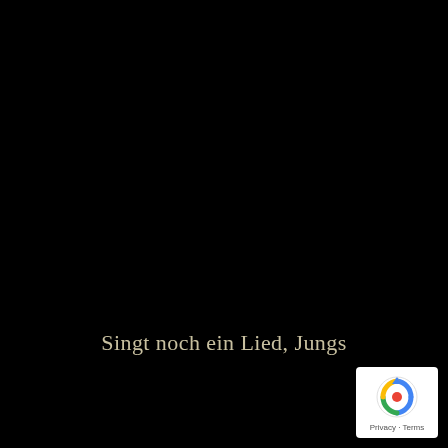Singt noch ein Lied, Jungs
[Figure (logo): Google reCAPTCHA badge with circular arrow logo and Privacy · Terms links]